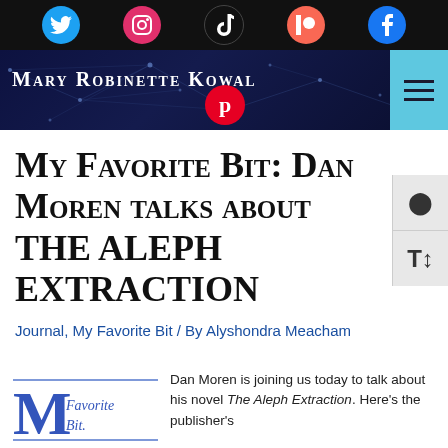[Figure (screenshot): Website header with dark navy background showing network/constellation pattern. Social media icons (Twitter blue, Instagram pink, TikTok black, Patreon orange-red, Facebook blue) in top black bar. Site name 'Mary Robinette Kowal' in white small-caps. Pinterest icon in red circle. Cyan hamburger menu button top-right.]
My Favorite Bit: Dan Moren talks about THE ALEPH EXTRACTION
Journal, My Favorite Bit / By Alyshondra Meacham
[Figure (logo): My Favorite Bit logo — large blue M with 'Favorite Bit' text in script, with decorative lines above and below]
Dan Moren is joining us today to talk about his novel The Aleph Extraction. Here's the publisher's